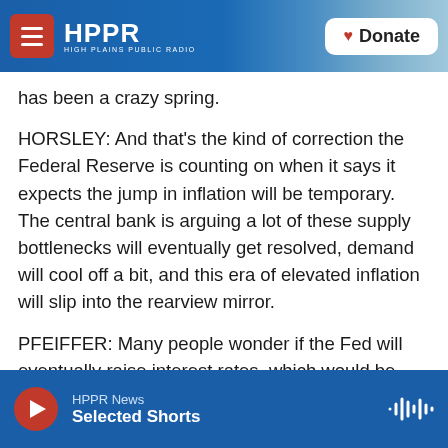HPPR — High Plains Public Radio | Donate
has been a crazy spring.
HORSLEY: And that's the kind of correction the Federal Reserve is counting on when it says it expects the jump in inflation will be temporary. The central bank is arguing a lot of these supply bottlenecks will eventually get resolved, demand will cool off a bit, and this era of elevated inflation will slip into the rearview mirror.
PFEIFFER: Many people wonder if the Fed will eventually raise interest rates, which would be good for people with savings accounts but would
HPPR News | Selected Shorts